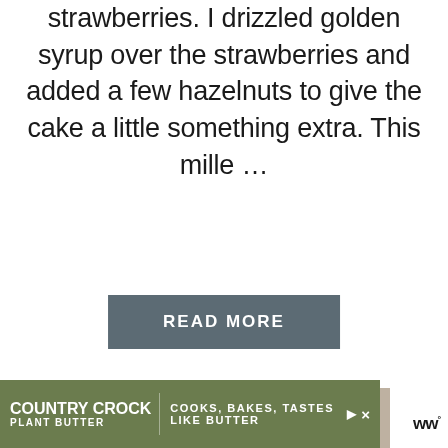strawberries. I drizzled golden syrup over the strawberries and added a few hazelnuts to give the cake a little something extra. This mille …
READ MORE
[Figure (photo): A hand touching a piece of chocolate-covered confection, with blurred chocolate pieces in the background]
[Figure (infographic): Country Crock Plant Butter advertisement banner: COOKS, BAKES, TASTES LIKE BUTTER]
ww°